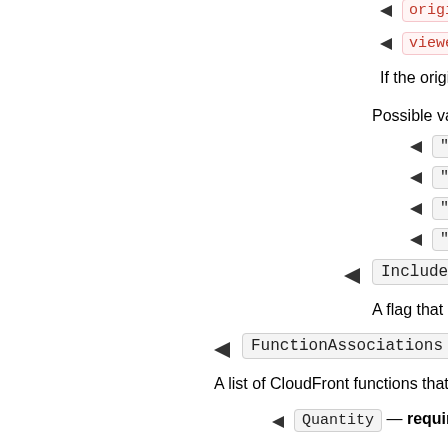origin-response : The...
viewer-response : The...
If the origin returns an HTT...
Possible values include:
"viewer-request"
"viewer-response"
"origin-request"
"origin-response"
IncludeBody — (Boolean)...
A flag that allows a Lambda@E...
FunctionAssociations — (map)...
A list of CloudFront functions that are ass...
Quantity — required — (Integ...